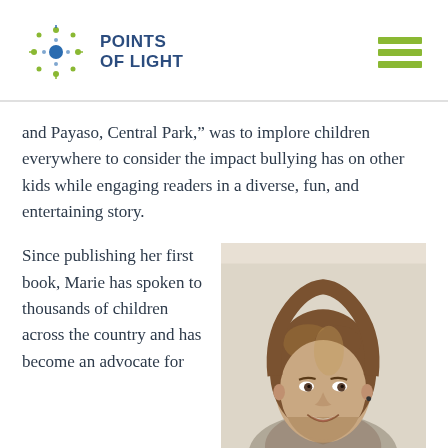POINTS OF LIGHT
and Payaso, Central Park," was to implore children everywhere to consider the impact bullying has on other kids while engaging readers in a diverse, fun, and entertaining story.
Since publishing her first book, Marie has spoken to thousands of children across the country and has become an advocate for
[Figure (photo): Portrait photo of a smiling woman with medium-length brown hair, wearing a light-colored top, photographed against a neutral background.]